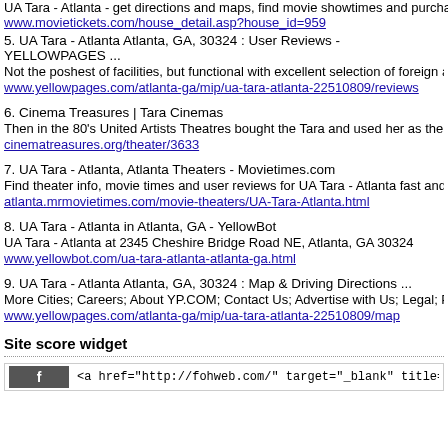UA Tara - Atlanta - get directions and maps, find movie showtimes and purchase tick
www.movietickets.com/house_detail.asp?house_id=959
5. UA Tara - Atlanta Atlanta, GA, 30324 : User Reviews - YELLOWPAGES ...
Not the poshest of facilities, but functional with excellent selection of foreign and alte
www.yellowpages.com/atlanta-ga/mip/ua-tara-atlanta-22510809/reviews
6. Cinema Treasures | Tara Cinemas
Then in the 80's United Artists Theatres bought the Tara and used her as the VP's off
cinematreasures.org/theater/3633
7. UA Tara - Atlanta, Atlanta Theaters - Movietimes.com
Find theater info, movie times and user reviews for UA Tara - Atlanta fast and easy.
atlanta.mrmovietimes.com/movie-theaters/UA-Tara-Atlanta.html
8. UA Tara - Atlanta in Atlanta, GA - YellowBot
UA Tara - Atlanta at 2345 Cheshire Bridge Road NE, Atlanta, GA 30324
www.yellowbot.com/ua-tara-atlanta-atlanta-ga.html
9. UA Tara - Atlanta Atlanta, GA, 30324 : Map & Driving Directions ...
More Cities; Careers; About YP.COM; Contact Us; Advertise with Us; Legal; Privacy P
www.yellowpages.com/atlanta-ga/mip/ua-tara-atlanta-22510809/map
Site score widget
<a href="http://fohweb.com/" target="_blank" title="FohWeb sco